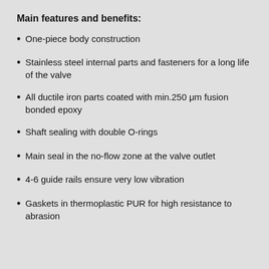Main features and benefits:
One-piece body construction
Stainless steel internal parts and fasteners for a long life of the valve
All ductile iron parts coated with min.250 μm fusion bonded epoxy
Shaft sealing with double O-rings
Main seal in the no-flow zone at the valve outlet
4-6 guide rails ensure very low vibration
Gaskets in thermoplastic PUR for high resistance to abrasion